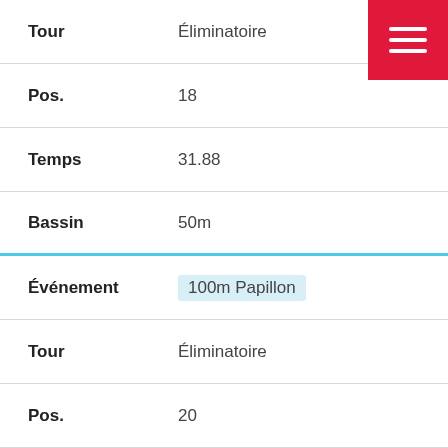| Label | Value |
| --- | --- |
| Tour | Éliminatoire |
| Pos. | 18 |
| Temps | 31.88 |
| Bassin | 50m |
| Événement | 100m Papillon |
| Tour | Éliminatoire |
| Pos. | 20 |
| Temps | 1:12.04 |
| Bassin | 50m |